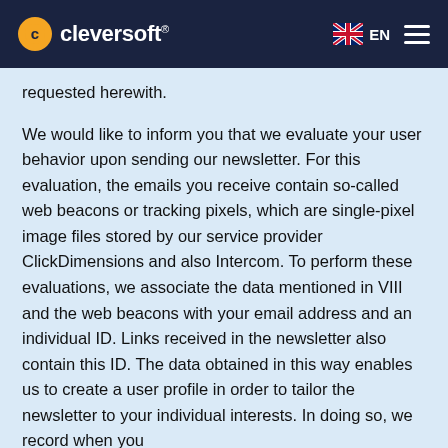cleversoft® EN
requested herewith.
We would like to inform you that we evaluate your user behavior upon sending our newsletter. For this evaluation, the emails you receive contain so-called web beacons or tracking pixels, which are single-pixel image files stored by our service provider ClickDimensions and also Intercom. To perform these evaluations, we associate the data mentioned in VIII and the web beacons with your email address and an individual ID. Links received in the newsletter also contain this ID. The data obtained in this way enables us to create a user profile in order to tailor the newsletter to your individual interests. In doing so, we record when you